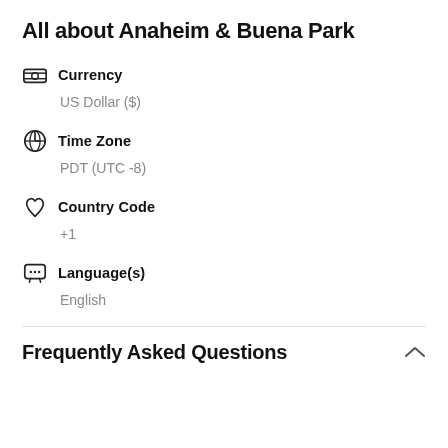All about Anaheim & Buena Park
Currency: US Dollar ($)
Time Zone: PDT (UTC -8)
Country Code: +1
Language(s): English
Frequently Asked Questions